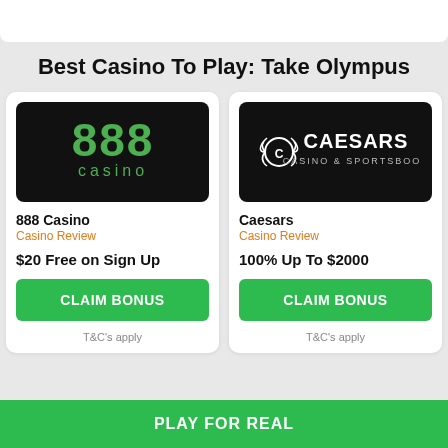Best Casino To Play: Take Olympus
[Figure (logo): 888 Casino logo — green '888' text and 'casino' on black background]
888 Casino
Casino Review
$20 Free on Sign Up
CLAIM BONUS
T&C's apply
[Figure (logo): Caesars Casino & Sportsbook logo — laurel wreath and CAESARS text on black background]
Caesars
Casino Review
100% Up To $2000
CLAIM BONUS
T&C's apply
PLAY FOR REAL